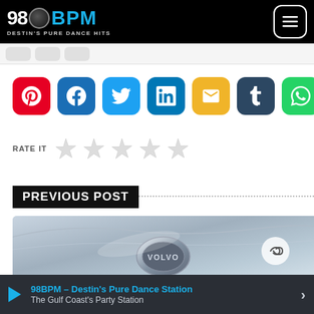98BPM - DESTIN'S PURE DANCE HITS
[Figure (screenshot): Social media share buttons: Pinterest (red), Facebook (blue), Twitter (light blue), LinkedIn (teal), Email (yellow), Tumblr (dark blue), WhatsApp (green)]
RATE IT ☆ ☆ ☆ ☆ ☆
PREVIOUS POST
[Figure (photo): Close-up of a Volvo car badge/emblem on the hood, silver metallic surface with VOLVO text, with a chain link icon overlay]
98BPM – Destin's Pure Dance Station | The Gulf Coast's Party Station